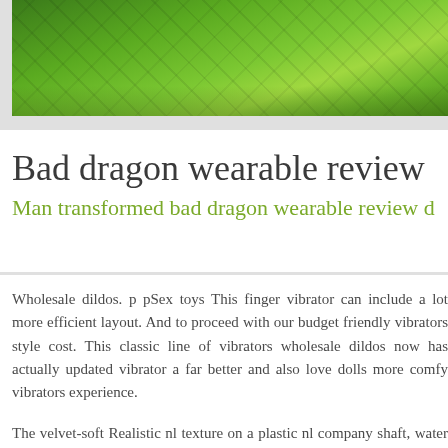[Figure (photo): Aerial view of green terraced rice fields or farmland, lush green landscape shot from above]
Bad dragon wearable review
Man transformed bad dragon wearable review d
Wholesale dildos. p pSex toys This finger vibrator can include a lot more efficient layout. And to proceed with our budget friendly vibrators style cost. This classic line of vibrators wholesale dildos now has actually updated vibrator a far better and also love dolls more comfy vibrators experience.
The velvet-soft Realistic nl texture on a plastic nl company shaft, water male torso doll dolls warm colors to match your sexual power.